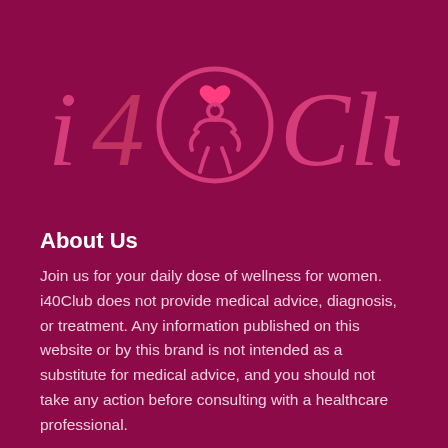[Figure (logo): i4 Club logo with a stylized figure and heart icon in pink/hot-pink on dark maroon background]
About Us
Join us for your daily dose of wellness for women. i40Club does not provide medical advice, diagnosis, or treatment. Any information published on this website or by this brand is not intended as a substitute for medical advice, and you should not take any action before consulting with a healthcare professional.